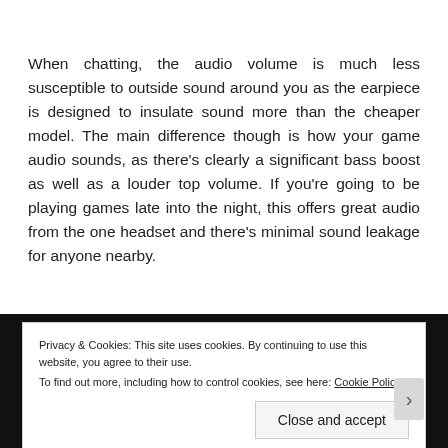When chatting, the audio volume is much less susceptible to outside sound around you as the earpiece is designed to insulate sound more than the cheaper model. The main difference though is how your game audio sounds, as there’s clearly a significant bass boost as well as a louder top volume. If you’re going to be playing games late into the night, this offers great audio from the one headset and there’s minimal sound leakage for anyone nearby.
Privacy & Cookies: This site uses cookies. By continuing to use this website, you agree to their use. To find out more, including how to control cookies, see here: Cookie Policy